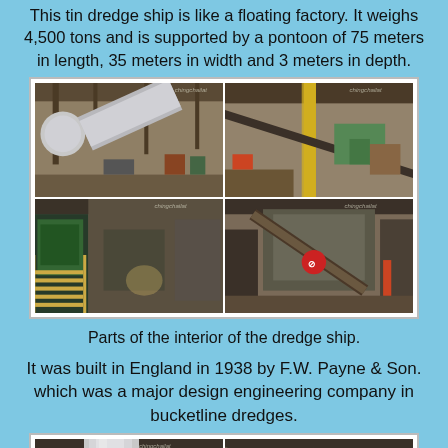This tin dredge ship is like a floating factory. It weighs 4,500 tons and is supported by a pontoon of 75 meters in length, 35 meters in width and 3 meters in depth.
[Figure (photo): Four-panel collage showing interior machinery of the tin dredge ship including conveyor systems, structural beams, and industrial equipment]
Parts of the interior of the dredge ship.
It was built in England in 1938 by F.W. Payne & Son. which was a major design engineering company in bucketline dredges.
[Figure (photo): Two-panel partial view showing interior of dredge ship with large cylindrical pipes and structural framework]